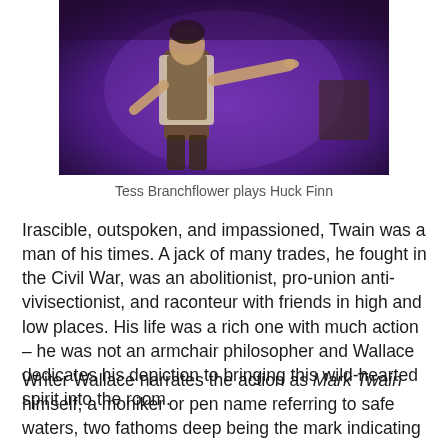[Figure (photo): A performer on stage, wearing a vest and white shirt, pointing with one hand, against a purple theatrical background. Tess Branchflower plays Huck Finn.]
Tess Branchflower plays Huck Finn
Irascible, outspoken, and impassioned, Twain was a man of his times. A jack of many trades, he fought in the Civil War, was an abolitionist, pro-union anti-vivisectionist, and raconteur with friends in high and low places. His life was a rich one with much action – he was not an armchair philosopher and Wallace dedicates his depiction to bringing this wild-hearted spirit into the room.
Writer Wallace narrates the action as Mark Twain himself, a moniker or pen name referring to safe waters, two fathoms deep being the mark indicating